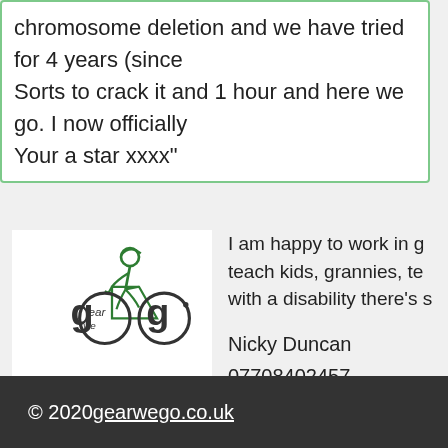chromosome deletion and we have tried for 4 years (since Sorts to crack it and 1 hour and here we go. I now officially Your a star xxxx"
[Figure (logo): Gear We Go logo showing a stick figure riding a bicycle with stylized 'gear we go' text]
I am happy to work in g teach kids, grannies, te with a disability there's s
Nicky Duncan
07708402457
nickyduncan@gearwego
© 2020 gearwego.co.uk